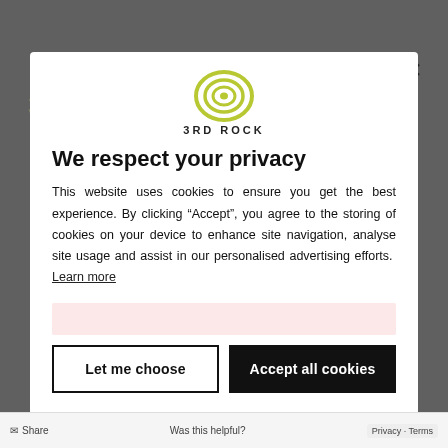[Figure (logo): 3RD ROCK circular logo with olive/yellow-green concentric rings]
We respect your privacy
This website uses cookies to ensure you get the best experience. By clicking “Accept”, you agree to the storing of cookies on your device to enhance site navigation, analyse site usage and assist in our personalised advertising efforts. Learn more
Let me choose
Accept all cookies
Share   Was this helpful?   Privacy · Terms